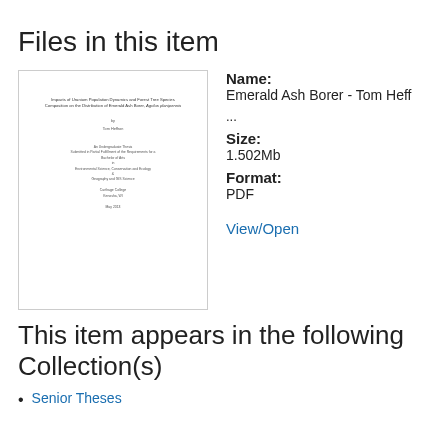Files in this item
[Figure (other): Thumbnail of a document titled 'Impacts of Uranium Population Dynamics and Forest Tree Species Composition on the Distribution of Emerald Ash Borer, Agrilus planipennis', by Tom Heffron, showing a thesis cover page.]
Name:
Emerald Ash Borer - Tom Heff
...
Size:
1.502Mb
Format:
PDF
View/Open
This item appears in the following Collection(s)
Senior Theses